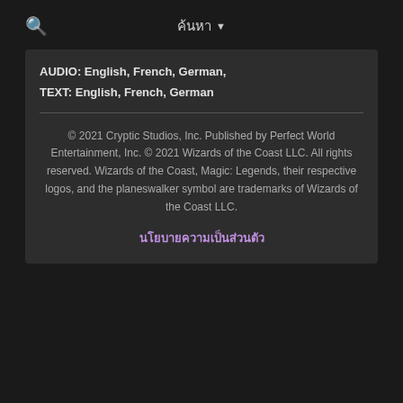ค้นหา
AUDIO: English, French, German,
TEXT: English, French, German
© 2021 Cryptic Studios, Inc. Published by Perfect World Entertainment, Inc. © 2021 Wizards of the Coast LLC. All rights reserved. Wizards of the Coast, Magic: Legends, their respective logos, and the planeswalker symbol are trademarks of Wizards of the Coast LLC.
นโยบายความเป็นส่วนตัว